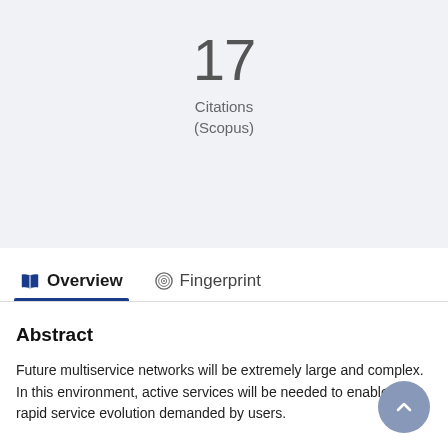17
Citations
(Scopus)
Overview
Fingerprint
Abstract
Future multiservice networks will be extremely large and complex. In this environment, active services will be needed to enable the rapid service evolution demanded by users.